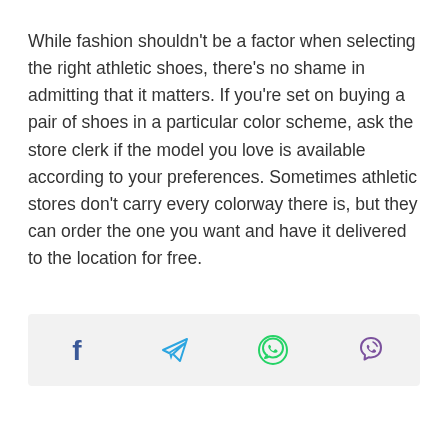While fashion shouldn't be a factor when selecting the right athletic shoes, there's no shame in admitting that it matters. If you're set on buying a pair of shoes in a particular color scheme, ask the store clerk if the model you love is available according to your preferences. Sometimes athletic stores don't carry every colorway there is, but they can order the one you want and have it delivered to the location for free.
[Figure (infographic): Social share bar with four icons: Facebook (blue f), Telegram (blue paper plane), WhatsApp (green phone in circle), Viber (purple phone with waves)]